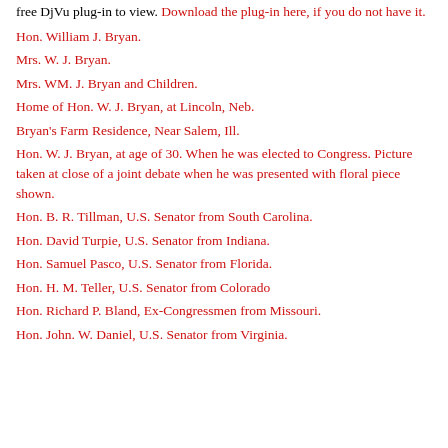free DjVu plug-in to view. Download the plug-in here, if you do not have it.
Hon. William J. Bryan.
Mrs. W. J. Bryan.
Mrs. WM. J. Bryan and Children.
Home of Hon. W. J. Bryan, at Lincoln, Neb.
Bryan's Farm Residence, Near Salem, Ill.
Hon. W. J. Bryan, at age of 30. When he was elected to Congress. Picture taken at close of a joint debate when he was presented with floral piece shown.
Hon. B. R. Tillman, U.S. Senator from South Carolina.
Hon. David Turpie, U.S. Senator from Indiana.
Hon. Samuel Pasco, U.S. Senator from Florida.
Hon. H. M. Teller, U.S. Senator from Colorado
Hon. Richard P. Bland, Ex-Congressmen from Missouri.
Hon. John. W. Daniel, U.S. Senator from Virginia.